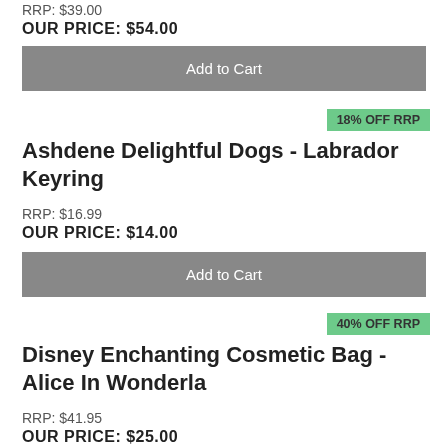RRP: $39.00
OUR PRICE: $54.00
Add to Cart
18% OFF RRP
Ashdene Delightful Dogs - Labrador Keyring
RRP: $16.99
OUR PRICE: $14.00
Add to Cart
40% OFF RRP
Disney Enchanting Cosmetic Bag - Alice In Wonderla
RRP: $41.95
OUR PRICE: $25.00